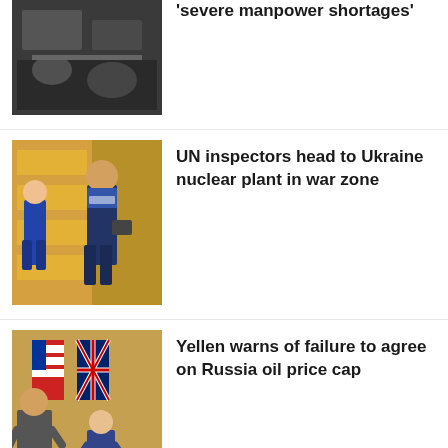'severe manpower shortages'
[Figure (photo): Debris or wreckage photo, dark tones]
UN inspectors head to Ukraine nuclear plant in war zone
[Figure (photo): People in blue vests walking through a hotel lobby]
Yellen warns of failure to agree on Russia oil price cap
[Figure (photo): Two people standing in front of American and British flags]
Recommended
New
What to know about preparing emergency kits for at home and
[Figure (photo): Person preparing an emergency kit on a table]
to go
New